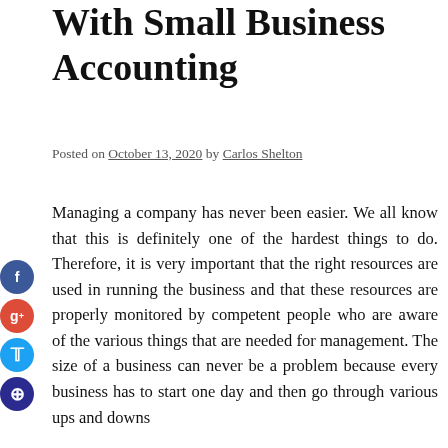With Small Business Accounting
Posted on October 13, 2020 by Carlos Shelton
Managing a company has never been easier. We all know that this is definitely one of the hardest things to do. Therefore, it is very important that the right resources are used in running the business and that these resources are properly monitored by competent people who are aware of the various things that are needed for management. The size of a business can never be a problem because every business has to start one day and then go through various ups and downs